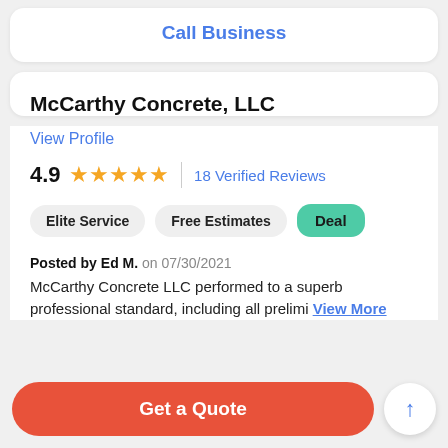Call Business
McCarthy Concrete, LLC
View Profile
4.9 ★★★★★ | 18 Verified Reviews
Elite Service
Free Estimates
Deal
Posted by Ed M. on 07/30/2021
McCarthy Concrete LLC performed to a superb professional standard, including all prelimi View More
Get a Quote